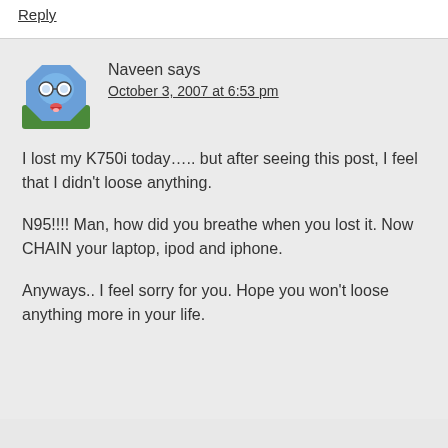Reply
Naveen says
October 3, 2007 at 6:53 pm
I lost my K750i today….. but after seeing this post, I feel that I didn't loose anything.

N95!!!! Man, how did you breathe when you lost it. Now CHAIN your laptop, ipod and iphone.

Anyways.. I feel sorry for you. Hope you won't loose anything more in your life.